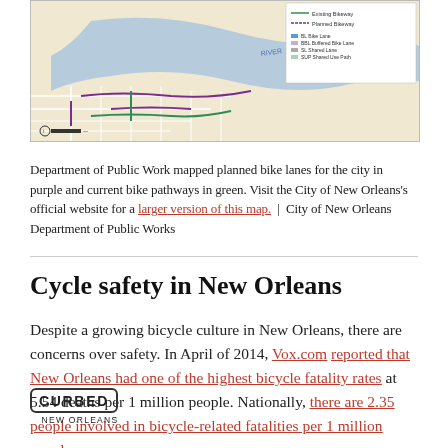[Figure (map): Map of New Orleans showing planned bike lanes in purple and current bike pathways in green, with legend for bike lane types (Bike Lane, Buffered Bike Lane, Shared Lane, Shared Use Path) and scale bar at bottom left.]
Department of Public Work mapped planned bike lanes for the city in purple and current bike pathways in green. Visit the City of New Orleans's official website for a larger version of this map. | City of New Orleans Department of Public Works
Cycle safety in New Orleans
Despite a growing bicycle culture in New Orleans, there are concerns over safety. In April of 2014, Vox.com reported that New Orleans had one of the highest bicycle fatality rates at 5.54 deaths per 1 million people. Nationally, there are 2.35 people involved in bicycle-related fatalities per 1 million people.
[Figure (logo): Curbed New Orleans logo — text CURBED in a rounded rectangle box, with NEW ORLEANS below]